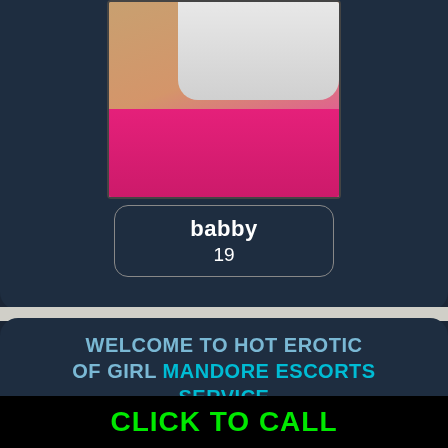[Figure (photo): Photo of a young woman in a white top and pink bottom]
babby
19
WELCOME TO HOT EROTIC OF GIRL MANDORE ESCORTS SERVICE
Welcome to Parul Sen mandore Escort Agency, the one-stop spot for get passage to. Wonderful
CLICK TO CALL